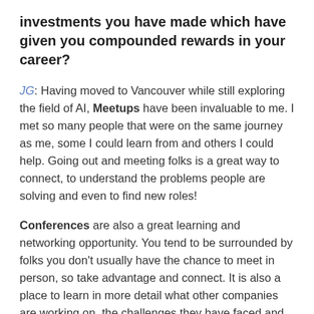investments you have made which have given you compounded rewards in your career?
JG: Having moved to Vancouver while still exploring the field of AI, Meetups have been invaluable to me. I met so many people that were on the same journey as me, some I could learn from and others I could help. Going out and meeting folks is a great way to connect, to understand the problems people are solving and even to find new roles!
Conferences are also a great learning and networking opportunity. You tend to be surrounded by folks you don't usually have the chance to meet in person, so take advantage and connect. It is also a place to learn in more detail what other companies are working on, the challenges they have faced and how they solved it. I attended Data Science Go earlier this year in San Diego and I met lots of exciting and passionate people. I'm looking forward to